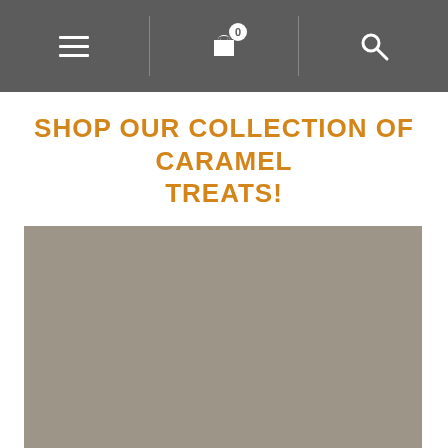Navigation bar with menu, cart (0), and search icons
SHOP OUR COLLECTION OF CARAMEL TREATS!
[Figure (photo): Large gray/taupe placeholder image area for caramel treats product photo]